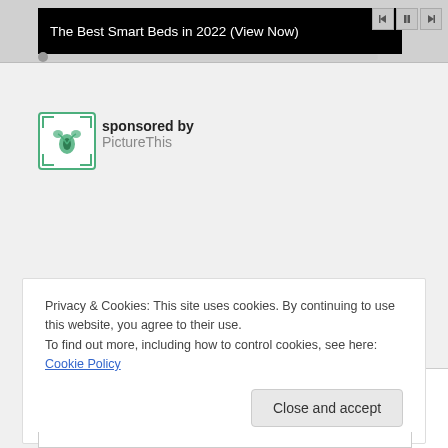[Figure (screenshot): Top portion of a webpage showing a video player bar with navigation controls and a black banner reading 'The Best Smart Beds in 2022 (View Now)']
[Figure (logo): PictureThis app logo — green plant icon in a rounded square with corner bracket marks]
sponsored by PictureThis
[Figure (other): Advertisement box area (blank white box with border)]
Privacy & Cookies: This site uses cookies. By continuing to use this website, you agree to their use.
To find out more, including how to control cookies, see here: Cookie Policy
Close and accept